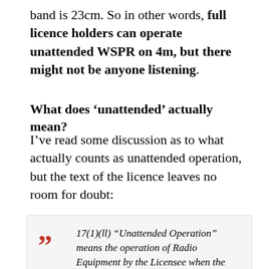band is 23cm. So in other words, full licence holders can operate unattended WSPR on 4m, but there might not be anyone listening.
What does ‘unattended’ actually mean?
I’ve read some discussion as to what actually counts as unattended operation, but the text of the licence leaves no room for doubt:
17(1)(ll) “Unattended Operation” means the operation of Radio Equipment by the Licensee when the Licensee is in a different location to that where the Radio Equipment is located